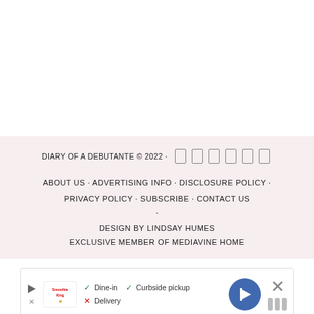DIARY OF A DEBUTANTE © 2022 ·
ABOUT US · ADVERTISING INFO · DISCLOSURE POLICY · PRIVACY POLICY · SUBSCRIBE · CONTACT US
·
DESIGN BY LINDSAY HUMES
EXCLUSIVE MEMBER OF MEDIAVINE HOME
[Figure (screenshot): Advertisement banner showing Smoothie King restaurant info with Dine-in, Curbside pickup available and Delivery unavailable, with navigation icon and close button]